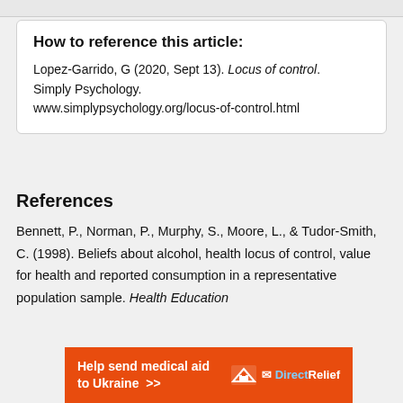How to reference this article:
Lopez-Garrido, G (2020, Sept 13). Locus of control. Simply Psychology. www.simplypsychology.org/locus-of-control.html
References
Bennett, P., Norman, P., Murphy, S., Moore, L., & Tudor-Smith, C. (1998). Beliefs about alcohol, health locus of control, value for health and reported consumption in a representative population sample. Health Education
[Figure (infographic): Orange advertisement banner for Direct Relief: 'Help send medical aid to Ukraine >>' with Direct Relief logo on the right.]